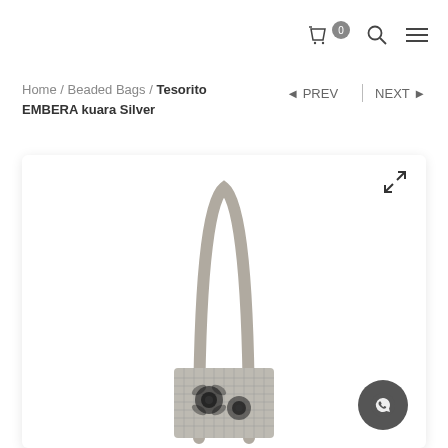Cart (0) Search Menu
Home / Beaded Bags / Tesorito EMBERA kuara Silver
◄ PREV | NEXT ►
[Figure (photo): Product photo of a beaded bag called Tesorito EMBERA kuara Silver. The bag has a looped rope/cord handle at the top made of silver/grey beads, and the bag body shows a dark floral pattern (roses) on a silver/grey beaded background. Expand icon shown at top right corner of image area. WhatsApp button at bottom right.]